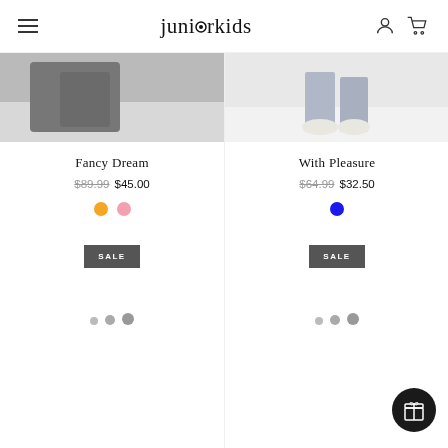juniorkids
[Figure (photo): Product photo: dark jacket/backpack on snowy background (Fancy Dream)]
Fancy Dream
$89.99 $45.00
[Figure (photo): Product photo: child shoes/jeans on light background (With Pleasure)]
With Pleasure
$64.99 $32.50
SALE
SALE